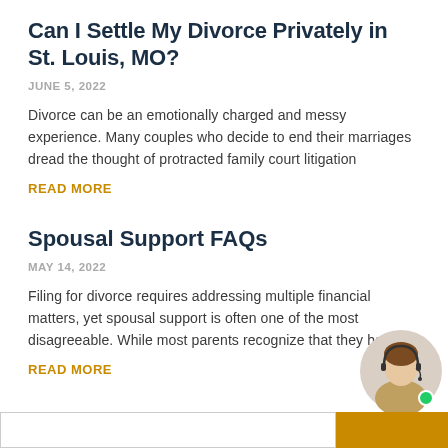Can I Settle My Divorce Privately in St. Louis, MO?
JUNE 5, 2022
Divorce can be an emotionally charged and messy experience. Many couples who decide to end their marriages dread the thought of protracted family court litigation
READ MORE
Spousal Support FAQs
MAY 14, 2022
Filing for divorce requires addressing multiple financial matters, yet spousal support is often one of the most disagreeable. While most parents recognize that they have
READ MORE
[Figure (photo): Customer service agent photo with headset, small circular green indicator]